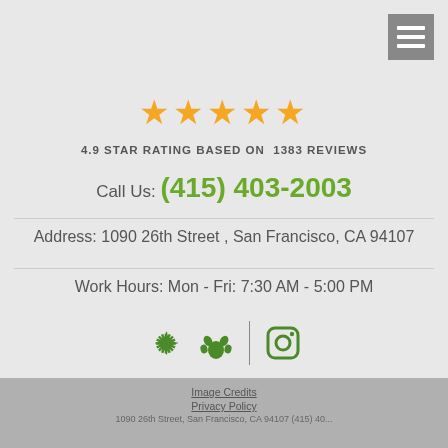[Figure (other): Hamburger menu icon button (three horizontal white lines on grey background) in top right corner]
[Figure (other): Five orange star rating icons]
4.9 STAR RATING BASED ON  1383 REVIEWS
Call Us: (415) 403-2003
Address: 1090 26th Street , San Francisco, CA 94107
Work Hours: Mon - Fri: 7:30 AM - 5:00 PM
[Figure (logo): Yelp logo icon in green]
[Figure (logo): Instagram camera icon in green]
Image Credits
Privacy Policy
1090 26th Street, San Francisco, CA 94107 (415) 40...